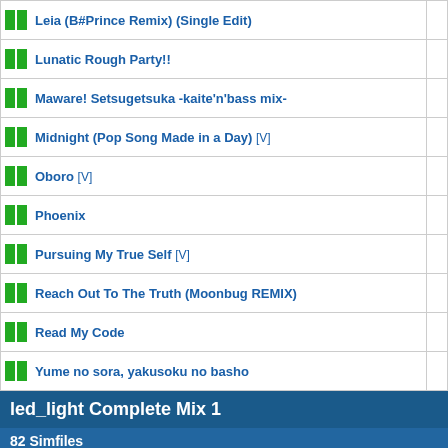| Song Title |  |
| --- | --- |
| Leia (B#Prince Remix) (Single Edit) |  |
| Lunatic Rough Party!! |  |
| Maware! Setsugetsuka -kaite'n'bass mix- |  |
| Midnight (Pop Song Made in a Day) [V] |  |
| Oboro [V] |  |
| Phoenix |  |
| Pursuing My True Self [V] |  |
| Reach Out To The Truth (Moonbug REMIX) |  |
| Read My Code |  |
| Yume no sora, yakusoku no basho |  |
led_light Complete Mix 1
82 Simfiles
| Song Title |  |
| --- | --- |
| 39 TECHNO [V] |  |
| 8 -eight- |  |
| Akai Hana |  |
| Annihilator Method [V] |  |
| At The Time of Christmas Carol |  |
| BeBeatStream [V] |  |
| Beniboten [V] |  |